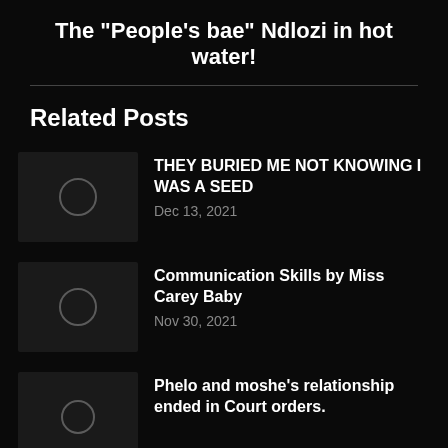The "People's bae" Ndlozi in hot water!
Related Posts
[Figure (photo): Thumbnail image placeholder for post 1]
THEY BURIED ME NOT KNOWING I WAS A SEED
Dec 13, 2021
[Figure (photo): Thumbnail image placeholder for post 2]
Communication Skills by Miss Carey Baby
Nov 30, 2021
[Figure (photo): Thumbnail image placeholder for post 3]
Phelo and moshe's relationship ended in Court orders.